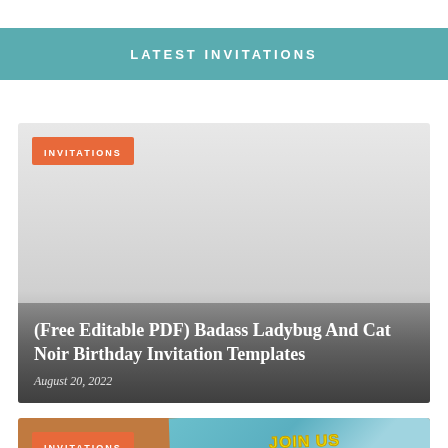LATEST INVITATIONS
[Figure (photo): Gray gradient background image card with an orange INVITATIONS badge in top-left corner and a dark overlay at the bottom showing article title and date]
(Free Editable PDF) Badass Ladybug And Cat Noir Birthday Invitation Templates
August 20, 2022
[Figure (photo): Brown background card with orange INVITATIONS badge and a tilted teal card showing JOIN US TO CELEBRATE text in yellow bold letters]